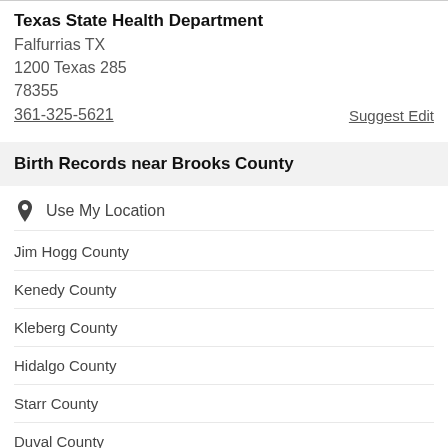Texas State Health Department
Falfurrias TX
1200 Texas 285
78355
361-325-5621
Suggest Edit
Birth Records near Brooks County
Use My Location
Jim Hogg County
Kenedy County
Kleberg County
Hidalgo County
Starr County
Duval County